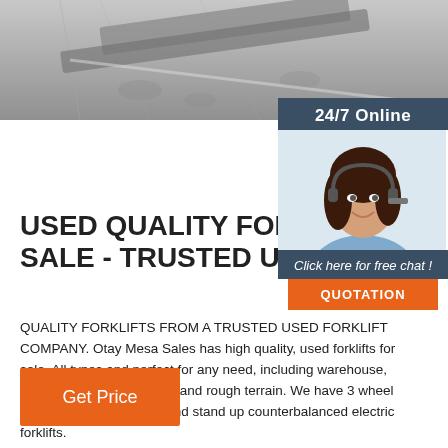[Figure (photo): Grayscale photo of a forklift or industrial equipment on a concrete floor, viewed from above at an angle]
[Figure (infographic): Chat widget with '24/7 Online' header, photo of a female customer service agent with headset, 'Click here for free chat!' text, and orange QUOTATION button]
USED QUALITY FORKLIFTS SALE - TRUSTED USED
QUALITY FORKLIFTS FROM A TRUSTED USED FORKLIFT COMPANY. Otay Mesa Sales has high quality, used forklifts for sale. All types and perfect for any need, including warehouse, material handling, outdoor and rough terrain. We have 3 wheel electric sit down forklifts and stand up counterbalanced electric forklifts.
Get Price